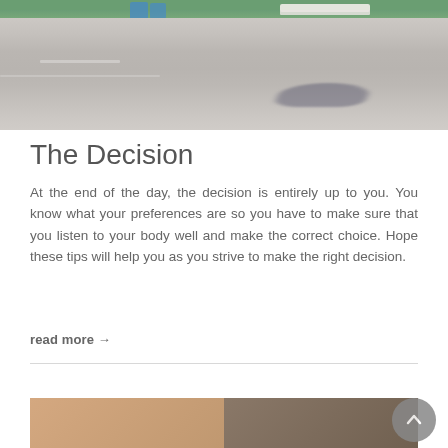[Figure (photo): Outdoor scene showing a road/parking area with a bench and greenery in the background, and a person's shadow cast on the ground]
The Decision
At the end of the day, the decision is entirely up to you. You know what your preferences are so you have to make sure that you listen to your body well and make the correct choice. Hope these tips will help you as you strive to make the right decision.
read more →
[Figure (photo): Partial photo of people, cut off at bottom of page]